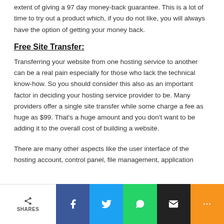extent of giving a 97 day money-back guarantee. This is a lot of time to try out a product which, if you do not like, you will always have the option of getting your money back.
Free Site Transfer:
Transferring your website from one hosting service to another can be a real pain especially for those who lack the technical know-how. So you should consider this also as an important factor in deciding your hosting service provider to be. Many providers offer a single site transfer while some charge a fee as huge as $99. That's a huge amount and you don't want to be adding it to the overall cost of building a website.
There are many other aspects like the user interface of the hosting account, control panel, file management, application
SHARES | Facebook | Twitter | WhatsApp | Email | More